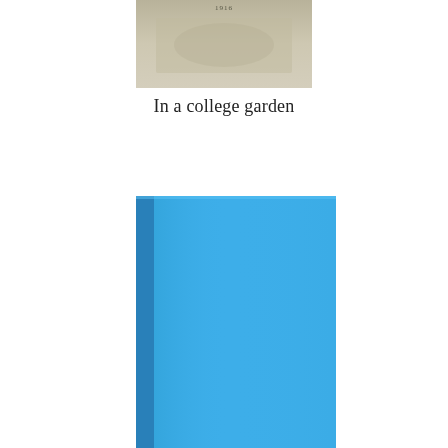[Figure (photo): Top portion of a vintage photograph showing a college garden scene with beige/tan tones and small text '1916' visible at the top center]
In a college garden
[Figure (photo): A blue hardcover book photographed from a slight angle, showing the spine on the left edge (darker blue) and the front cover (bright sky blue), with no visible text on the cover]